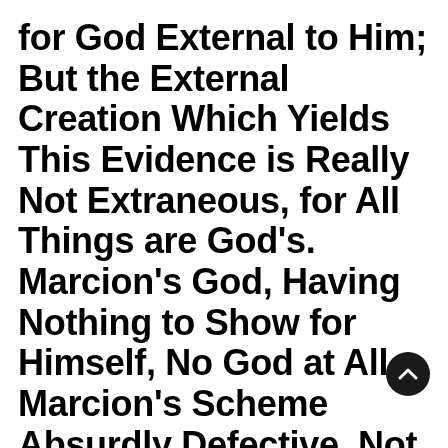for God External to Him; But the External Creation Which Yields This Evidence is Really Not Extraneous, for All Things are God's. Marcion's God, Having Nothing to Show for Himself, No God at All. Marcion's Scheme Absurdly Defective, Not Furnishing Evidence for His New God's Existence, Which Should Least Be Able to Compete